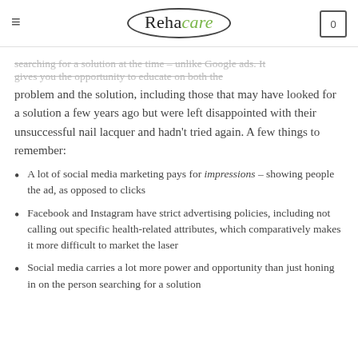Rehacare
searching for a solution at the time – unlike Google ads. It gives you the opportunity to educate on both the problem and the solution, including those that may have looked for a solution a few years ago but were left disappointed with their unsuccessful nail lacquer and hadn't tried again. A few things to remember:
A lot of social media marketing pays for impressions – showing people the ad, as opposed to clicks
Facebook and Instagram have strict advertising policies, including not calling out specific health-related attributes, which comparatively makes it more difficult to market the laser
Social media carries a lot more power and opportunity than just honing in on the person searching for a solution